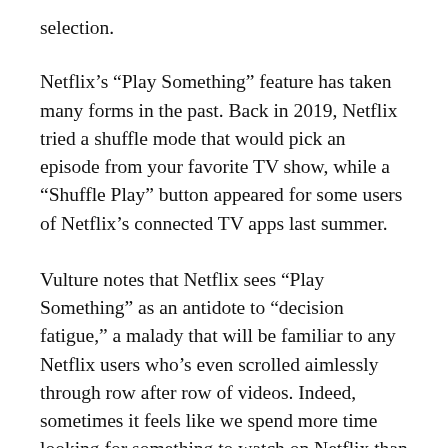selection.
Netflix’s “Play Something” feature has taken many forms in the past. Back in 2019, Netflix tried a shuffle mode that would pick an episode from your favorite TV show, while a “Shuffle Play” button appeared for some users of Netflix’s connected TV apps last summer.
Vulture notes that Netflix sees “Play Something” as an antidote to “decision fatigue,” a malady that will be familiar to any Netflix users who’s even scrolled aimlessly through row after row of videos. Indeed, sometimes it feels like we spend more time looking for something to watch on Netflix than we actually do watching something.